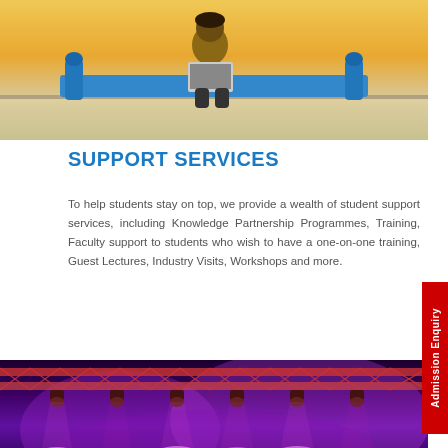[Figure (photo): Student sitting on a bench with a laptop outdoors in warm sunlight]
SUPPORT SERVICES
To help students stay on top, we provide a wealth of student support services, including Knowledge Partnership Programmes, Training, Faculty support to students who wish to have a one-on-one training, Guest Lectures, Industry Visits, Workshops and more.
[Figure (photo): Stage lighting with purple and pink lights and metal truss structures at an event]